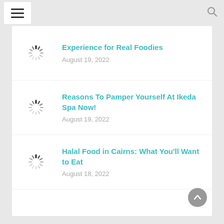☰  🔍
Experience for Real Foodies
August 19, 2022
Reasons To Pamper Yourself At Ikeda Spa Now!
August 19, 2022
Halal Food in Cairns: What You'll Want to Eat
August 18, 2022